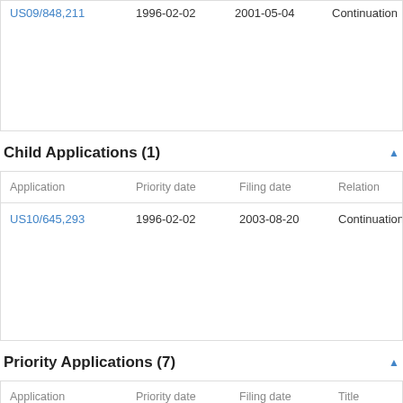| Application | Priority date | Filing date | Relation | Title |
| --- | --- | --- | --- | --- |
| US09/848,211 | 1996-02-02 | 2001-05-04 | Continuation | Su: del an age an imp sys |
Child Applications (1)
| Application | Priority date | Filing date | Relation | Title |
| --- | --- | --- | --- | --- |
| US10/645,293 | 1996-02-02 | 2003-08-20 | Continuation | Su: del an age an imp sys |
Priority Applications (7)
| Application | Priority date | Filing date | Title |
| --- | --- | --- | --- |